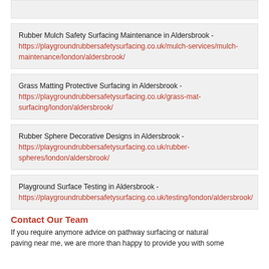Rubber Mulch Safety Surfacing Maintenance in Aldersbrook - https://playgroundrubbersafetysurfacing.co.uk/mulch-services/mulch-maintenance/london/aldersbrook/
Grass Matting Protective Surfacing in Aldersbrook - https://playgroundrubbersafetysurfacing.co.uk/grass-mat-surfacing/london/aldersbrook/
Rubber Sphere Decorative Designs in Aldersbrook - https://playgroundrubbersafetysurfacing.co.uk/rubber-spheres/london/aldersbrook/
Playground Surface Testing in Aldersbrook - https://playgroundrubbersafetysurfacing.co.uk/testing/london/aldersbrook/
Contact Our Team
If you require anymore advice on pathway surfacing or natural paving near me, we are more than happy to provide you with some